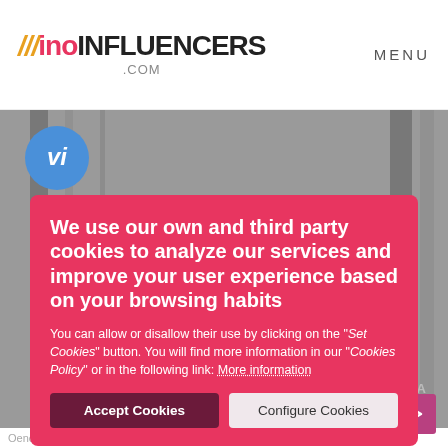WINO INFLUENCERS .COM   MENU
[Figure (screenshot): Greyscale background photo of a wine cellar or industrial storage area with vertical metal bars/shelves]
We use our own and third party cookies to analyze our services and improve your user experience based on your browsing habits
You can allow or disallow their use by clicking on the "Set Cookies" button. You will find more information in our "Cookies Policy" or in the following link: More information
Accept Cookies
Configure Cookies